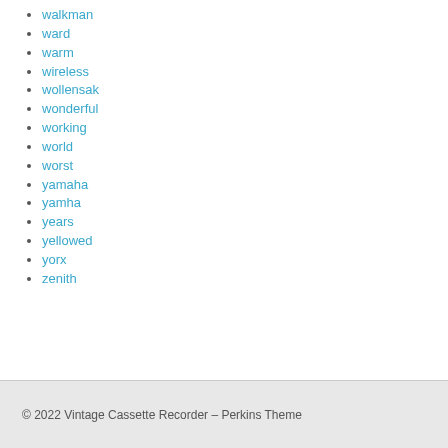walkman
ward
warm
wireless
wollensak
wonderful
working
world
worst
yamaha
yamha
years
yellowed
yorx
zenith
© 2022 Vintage Cassette Recorder – Perkins Theme